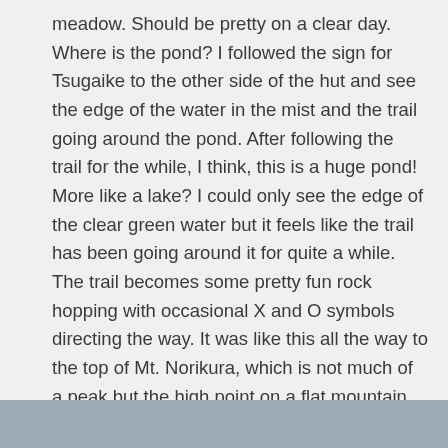meadow. Should be pretty on a clear day. Where is the pond? I followed the sign for Tsugaike to the other side of the hut and see the edge of the water in the mist and the trail going around the pond. After following the trail for the while, I think, this is a huge pond! More like a lake? I could only see the edge of the clear green water but it feels like the trail has been going around it for quite a while. The trail becomes some pretty fun rock hopping with occasional X and O symbols directing the way. It was like this all the way to the top of Mt. Norikura, which is not much of a peak but the high point on a flat mountain top. (No use hiking here to snowboard down, you'd just be stuck!) Finally, the sky opens just briefly enough for me to see the whole Hakuba Oike pond and take a photo.
[Figure (photo): Partial photo visible at the bottom of the page, appears to show a mountain or misty landscape scene.]